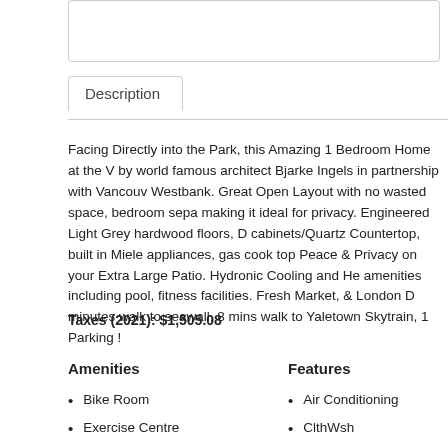Description
Facing Directly into the Park, this Amazing 1 Bedroom Home at the V by world famous architect Bjarke Ingels in partnership with Vancouv Westbank. Great Open Layout with no wasted space, bedroom sepa making it ideal for privacy. Engineered Light Grey hardwood floors, D cabinets/Quartz Countertop, built in Miele appliances, gas cook top Peace & Privacy on your Extra Large Patio. Hydronic Cooling and He amenities including pool, fitness facilities. Fresh Market, & London D minutes walk to seawall, 8 mins walk to Yaletown Skytrain, 1 Parking !
Taxes (2021): $1,505.08
Amenities
Features
Bike Room
Exercise Centre
Pool Outdoor
Air Conditioning
ClthWsh
Dryr